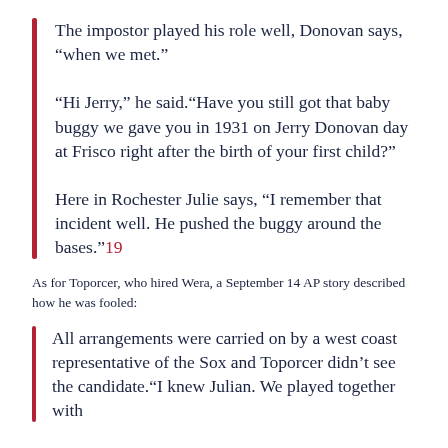The impostor played his role well, Donovan says, “when we met.”

“Hi Jerry,” he said.“Have you still got that baby buggy we gave you in 1931 on Jerry Donovan day at Frisco right after the birth of your first child?”

Here in Rochester Julie says, “I remember that incident well. He pushed the buggy around the bases.”19
As for Toporcer, who hired Wera, a September 14 AP story described how he was fooled:
All arrangements were carried on by a west coast representative of the Sox and Toporcer didn’t see the candidate.“I knew Julian. We played together with